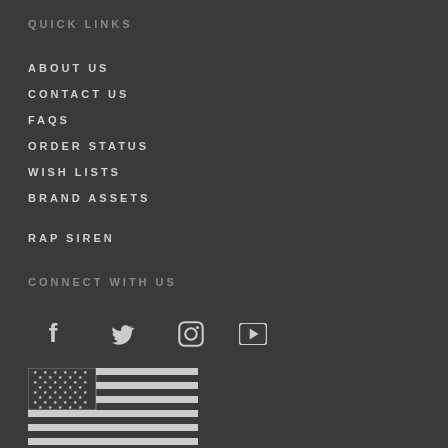QUICK LINKS
ABOUT US
CONTACT US
FAQS
ORDER STATUS
WISH LISTS
BRAND ASSETS
RAP SIREN
CONNECT WITH US
[Figure (illustration): Social media icons: Facebook, Twitter, Instagram, YouTube]
[Figure (illustration): Black and white American flag]